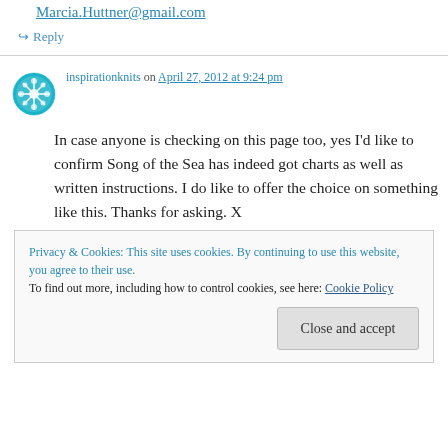Marcia.Huttner@gmail.com
↪ Reply
inspirationknits on April 27, 2012 at 9:24 pm
In case anyone is checking on this page too, yes I'd like to confirm Song of the Sea has indeed got charts as well as written instructions. I do like to offer the choice on something like this. Thanks for asking. X
Privacy & Cookies: This site uses cookies. By continuing to use this website, you agree to their use.
To find out more, including how to control cookies, see here: Cookie Policy
Close and accept